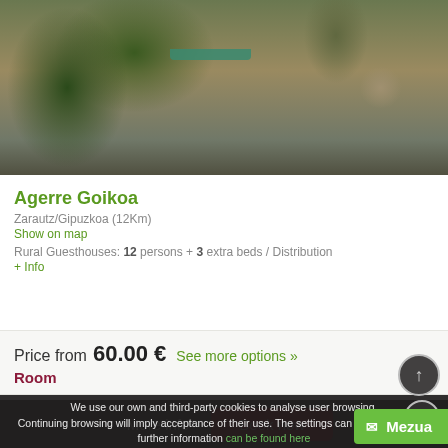[Figure (photo): Exterior photo of Agerre Goikoa rural guesthouse showing stone building with stairs, vegetation, and teal awning]
Agerre Goikoa
Zarautz/Gipuzkoa (12Km)
Show on map
Rural Guesthouses: 12 persons + 3 extra beds / Distribution
+ Info
Price from   60.00 €   See more options »
Room
More info   Book now
We use our own and third-party cookies to analyse user browsing. Continuing browsing will imply acceptance of their use. The settings can be changed and further information can be found here
Mezua